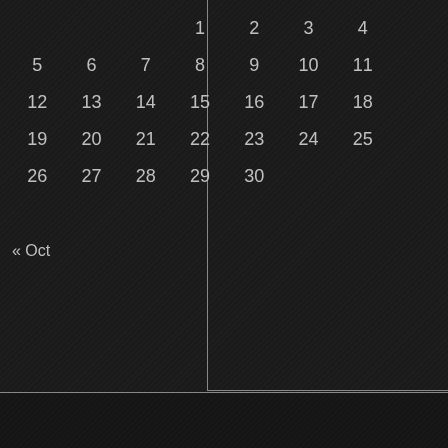| Sun | Mon | Tue | Wed | Thu | Fri | Sat |
| --- | --- | --- | --- | --- | --- | --- |
|  |  |  | 1 | 2 | 3 | 4 |
| 5 | 6 | 7 | 8 | 9 | 10 | 11 |
| 12 | 13 | 14 | 15 | 16 | 17 | 18 |
| 19 | 20 | 21 | 22 | 23 | 24 | 25 |
| 26 | 27 | 28 | 29 | 30 |  |  |
« Oct